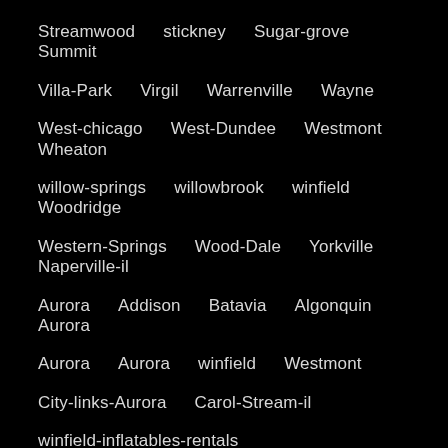Streamwood   stickney   Sugar-grove   Summit
Villa-Park   Virgil   Warrenville   Wayne
West-chicago   West-Dundee   Westmont   Wheaton
willow-springs   willowbrook   winfield   Woodridge
Western-Springs   Wood-Dale   Yorkville   Naperville-il
Aurora   Addison   Batavia   Algonquin   Aurora
Aurora   Aurora   winfield   Westmont
City-links-Aurora   Carol-Stream-il
winfield-inflatables-rentals   winfield-jump-house-rentals
City-links-Algonquin-rentals